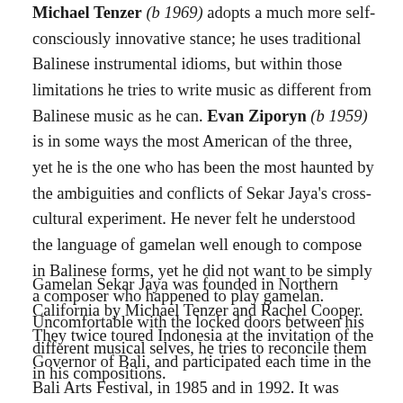Michael Tenzer (b 1969) adopts a much more self-consciously innovative stance; he uses traditional Balinese instrumental idioms, but within those limitations he tries to write music as different from Balinese music as he can. Evan Ziporyn (b 1959) is in some ways the most American of the three, yet he is the one who has been the most haunted by the ambiguities and conflicts of Sekar Jaya's cross-cultural experiment. He never felt he understood the language of gamelan well enough to compose in Balinese forms, yet he did not want to be simply a composer who happened to play gamelan. Uncomfortable with the locked doors between his different musical selves, he tries to reconcile them in his compositions.
Gamelan Sekar Jaya was founded in Northern California by Michael Tenzer and Rachel Cooper. They twice toured Indonesia at the invitation of the Governor of Bali, and participated each time in the Bali Arts Festival, in 1985 and in 1992. It was hailed in the Indonesian press as "clearly the